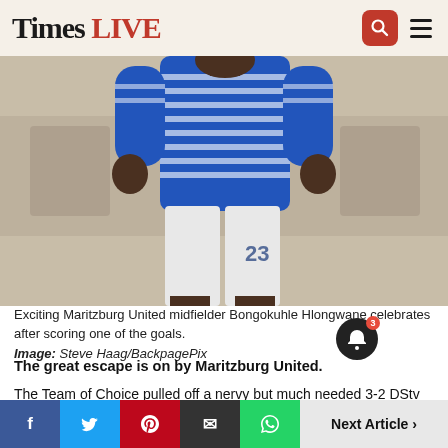Times LIVE
[Figure (photo): Maritzburg United midfielder Bongokuhle Hlongwane celebrating after scoring, wearing blue and white striped jersey and white shorts with number 23]
Exciting Maritzburg United midfielder Bongokuhle Hlongwane celebrates after scoring one of the goals.
Image: Steve Haag/BackpagePix
The great escape is on by Maritzburg United.
The Team of Choice pulled off a nervy but much needed 3-2 DStv Premiership win over provincial rivals Lamontville Golden Arrows to get out of the relegation